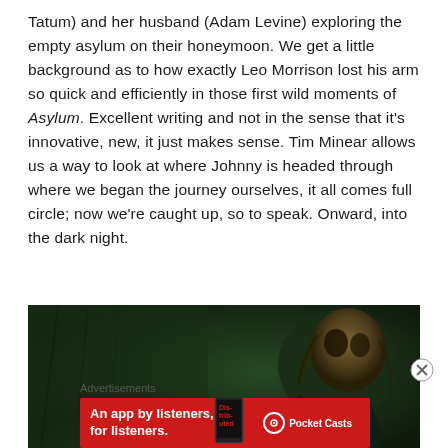Tatum) and her husband (Adam Levine) exploring the empty asylum on their honeymoon. We get a little background as to how exactly Leo Morrison lost his arm so quick and efficiently in those first wild moments of Asylum. Excellent writing and not in the sense that it's innovative, new, it just makes sense. Tim Minear allows us a way to look at where Johnny is headed through where we began the journey ourselves, it all comes full circle; now we're caught up, so to speak. Onward, into the dark night.
[Figure (photo): Dark horror scene showing a figure with a mask or disfigured head in a dimly lit, greenish-toned environment resembling an old asylum or dungeon]
Advertisements
[Figure (screenshot): Pocket Casts advertisement banner: red background with text 'An app by listeners, for listeners.' and Pocket Casts logo on the right, with a phone graphic showing distributed podcast app]